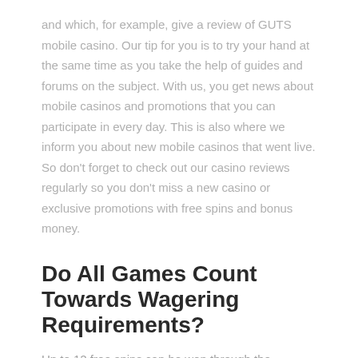and which, for example, give a review of GUTS mobile casino. Our tip for you is to try your hand at the same time as you take the help of guides and forums on the subject. With us, you get news about mobile casinos and promotions that you can participate in every day. This is also where we inform you about new mobile casinos that went live. So don't forget to check out our casino reviews regularly so you don't miss a new casino or exclusive promotions with free spins and bonus money.
Do All Games Count Towards Wagering Requirements?
Up to 12 free spins can be won through the pyramid scatters. Wilds can unlock extra free spins depending on how many you find. One of NetEnt's gems, Irish Pot Luck is arguably their best Irish-themed slot.